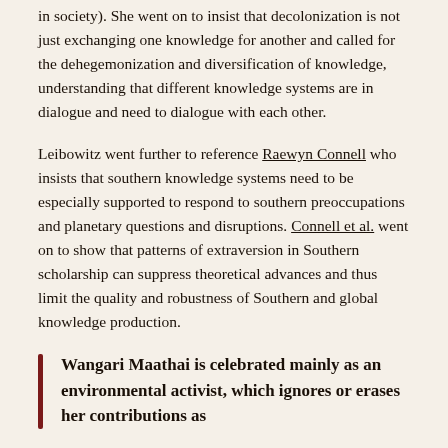in society). She went on to insist that decolonization is not just exchanging one knowledge for another and called for the dehegemonization and diversification of knowledge, understanding that different knowledge systems are in dialogue and need to dialogue with each other.
Leibowitz went further to reference Raewyn Connell who insists that southern knowledge systems need to be especially supported to respond to southern preoccupations and planetary questions and disruptions. Connell et al. went on to show that patterns of extraversion in Southern scholarship can suppress theoretical advances and thus limit the quality and robustness of Southern and global knowledge production.
Wangari Maathai is celebrated mainly as an environmental activist, which ignores or erases her contributions as